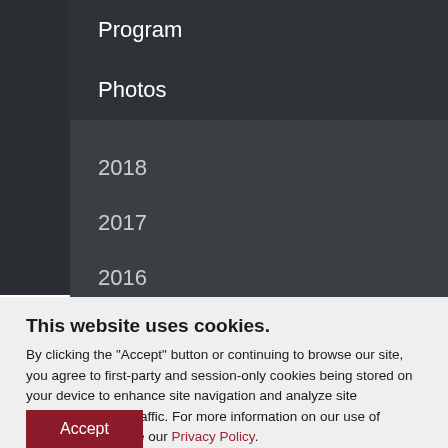Program
Photos
2018
2017
2016
This website uses cookies.
By clicking the "Accept" button or continuing to browse our site, you agree to first-party and session-only cookies being stored on your device to enhance site navigation and analyze site performance and traffic. For more information on our use of cookies, please see our Privacy Policy.
Accept